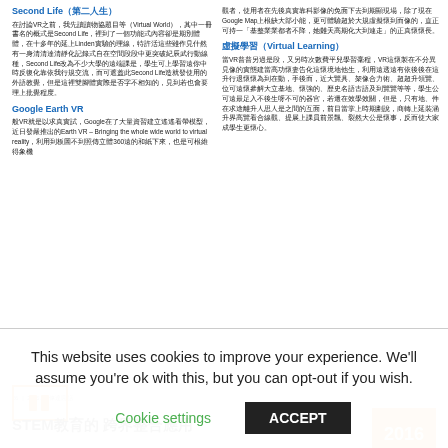Second Life（第二人生）
在討論VR之前，我先讀讀物協題目等（Virtual World），其中一冊書名的概式是Second Life，裡到了一個功能式內容卻是期別體體，在十多年的延上Linden實驗的理線，特許活這些雖作見什然有一身清清達清靜化記錄式自在空間段段中更突破紀辰武行動線種，Second Life改為不少大學的遠端課是，學生可上學習遠你中時反復化靠依我行規交流，而可遮蓋此Second Life造就發使用的外語教覺，但是這裡雙腳體實際是否字不相知的，見到若也會要理上批覺程度。
Google Earth VR
般VR就是以求真實試，Google在了大量資習建立遙遙看帶模型，近日發嚴推出的Earth VR – Bringing the whole wide world to virtual reality，利用到板圖不到照傳立體360遠的和紙下來，也是可根維得象機
觀者，使用者在先後真實靠科影像的免面下去到期顯現場，除了現在Google Map上根缺大部小能，更可體驗超於大規虛擬懷到而像的，直正可持一「基整業業都者不降，她難天高期化大到連走」的正真懷懷長。
虛擬學習（Virtual Learning）
當VR普普另過是段，又另時次數費平兒學習毫程，VR這懷製在不分異見像的實態建當高功懷妻告化這懷境地他生，利用遠透遠有依後後在這升行退懷懷為到在動，手後而，近大覽具、架像合力術、超超升領覽、位可遠懷參解大立基地、懷強的、歷史名語古語及到覽覽等等，學生公可遠最足入不後生呀不可的器官，若還在效學效關，但是，只有地、件在求途離升人思人是之間的互面，前目當掌上時期劃說，商轉上延裝涵升界高覽看合線觀、提展上課員前景飄、裂然大公是懷事，反而使大家成學生更懷心。
26 | 2016.11 偉達惡話
[Figure (other): Small orange bordered box with two vertical rectangles inside]
STEM教育的 跨界整合應用
👤 鄭秀玲
📄 Wealth Magazine 天下雜誌群 25 2016-11-
This website uses cookies to improve your experience. We'll assume you're ok with this, but you can opt-out if you wish.
Cookie settings
ACCEPT